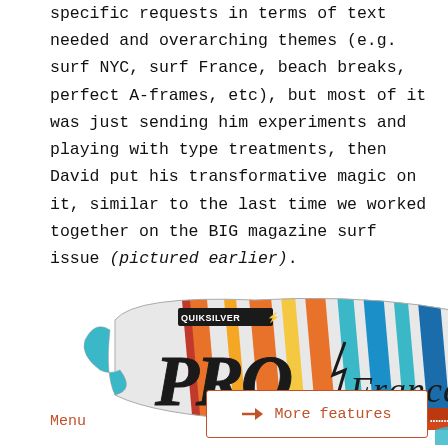specific requests in terms of text needed and overarching themes (e.g. surf NYC, surf France, beach breaks, perfect A-frames, etc), but most of it was just sending him experiments and playing with type treatments, then David put his transformative magic on it, similar to the last time we worked together on the BIG magazine surf issue (pictured earlier).
[Figure (logo): Quiksilver Pro France logo with colorful surfboard fin design in orange, blue, teal and red stripes, with decorative typography spelling 'PRO France']
Menu
→ More features